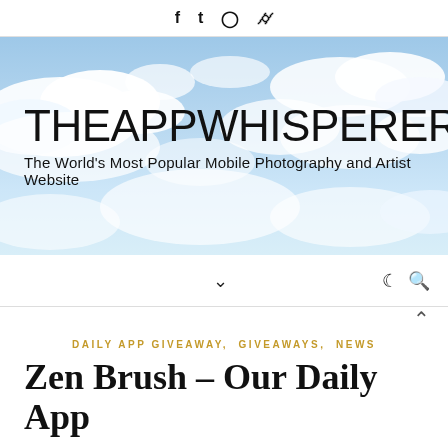f  t  instagram  pinterest
[Figure (photo): Sky with clouds background banner for The App Whisperer website header]
THEAPPWHISPERER
The World's Most Popular Mobile Photography and Artist Website
chevron-down (menu icon), moon icon, search icon
DAILY APP GIVEAWAY, GIVEAWAYS, NEWS
Zen Brush – Our Daily App